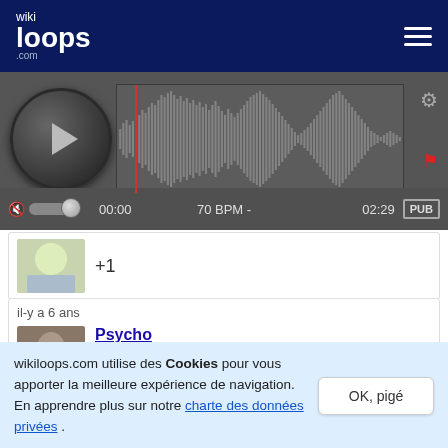[Figure (screenshot): wikiloops.com header with logo and hamburger menu]
[Figure (screenshot): Audio player with waveform, play button, time display 00:00 to 02:29 at 70 BPM, PUB button]
+1
il-y a 6 ans
Psycho
wikiloops.com utilise des Cookies pour vous apporter la meilleure expérience de navigation. En apprendre plus sur notre charte des données privées .
OK, pigé